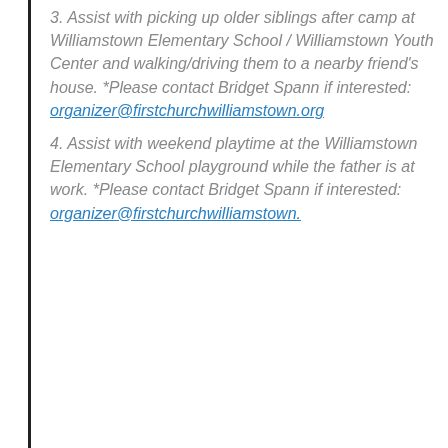3. Assist with picking up older siblings after camp at Williamstown Elementary School / Williamstown Youth Center and walking/driving them to a nearby friend's house. *Please contact Bridget Spann if interested: organizer@firstchurchwilliamstown.org
4. Assist with weekend playtime at the Williamstown Elementary School playground while the father is at work. *Please contact Bridget Spann if interested: organizer@firstchurchwilliamstown.